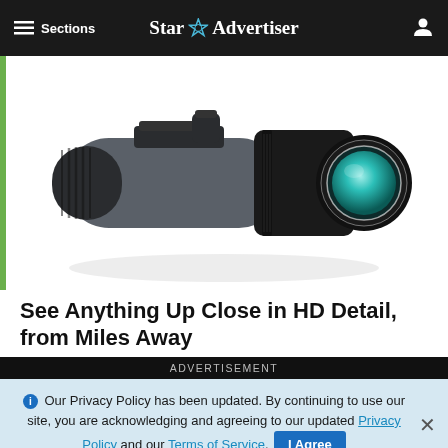≡ Sections   Star Advertiser
[Figure (photo): A black and grey monocular telescope with green-coated lens, shown at an angle on a white background. A green vertical bar appears on the left side of the image area.]
See Anything Up Close in HD Detail, from Miles Away
ADVERTISEMENT
ℹ Our Privacy Policy has been updated. By continuing to use our site, you are acknowledging and agreeing to our updated Privacy Policy and our Terms of Service. I Agree